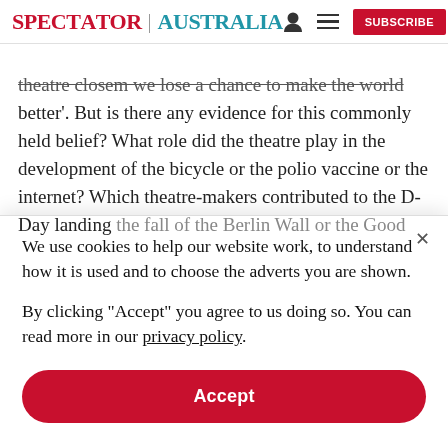SPECTATOR | AUSTRALIA
theatre closem we lose a chance to make the world better'. But is there any evidence for this commonly held belief? What role did the theatre play in the development of the bicycle or the polio vaccine or the internet? Which theatre-makers contributed to the D-Day landing the fall of the Berlin Wall or the Good
We use cookies to help our website work, to understand how it is used and to choose the adverts you are shown.
By clicking "Accept" you agree to us doing so. You can read more in our privacy policy.
Accept